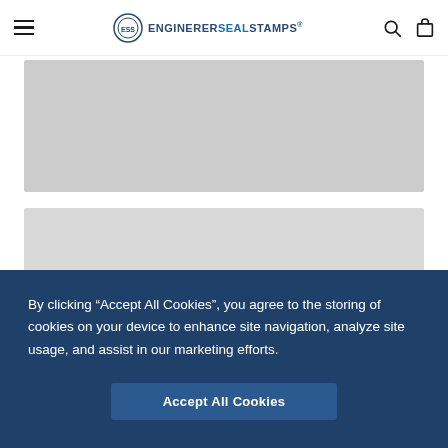ENGINERER SEAL STAMPS
[Figure (photo): Gray placeholder image rectangle, top content area]
[Figure (photo): Gray placeholder image rectangle, second content area]
By clicking “Accept All Cookies”, you agree to the storing of cookies on your device to enhance site navigation, analyze site usage, and assist in our marketing efforts.
Accept All Cookies